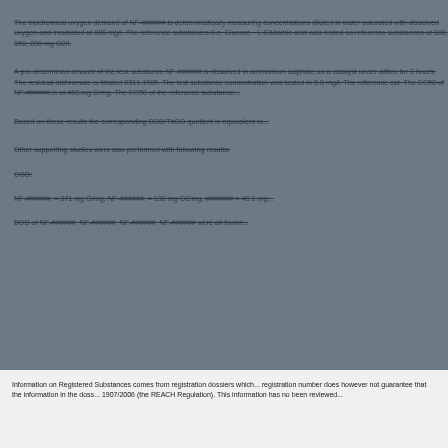The biochemical oxygen demand of NF-######.is deterministically measuring concentrations diluted in water saturated with dissolved oxygen and incubated at 800 mg/l. The reference substances 0.c. Glucose - L-Glutamic acid was tested as reference substances at 100, 150, 200 mg O2/l.
A pre-determined amount of the test substance NF-######.is dissolved in ammonium sulphate as a catalyst under aliflex for 2 hours. The residual dichromate is titrated 0311.1985. The test substance concentration was tested in 5.0 mg/l. The reference cat. The EC50 of NF-######.is at 460 mg O/mg. The EC50 of the reference substance...
Based on these results the corresponding BOD/ThOD quotient is equivalent to...
Other supporting studies were also performed with following results:
COD:
NF-######. = 371 mg O/mg, NF-######. = 130 mg O2/mg, ####### = 40.1 mg...
BOD of NF-######, NF-######, NF-######, NF-###### were all found...
Information on Registered Substances comes from registration dossiers which... registration number does however not guarantee that the information in the doss... 1907/2006 (the REACH Regulation). This information has no been reviewed...